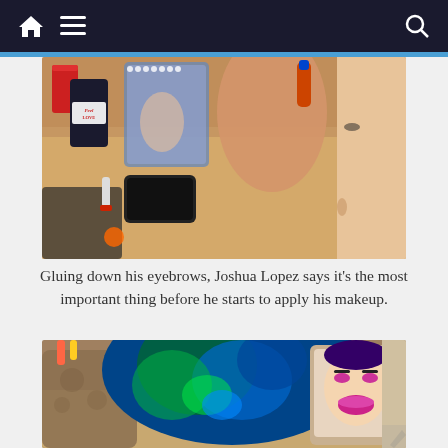Navigation bar with home, menu, and search icons
[Figure (photo): Person gluing down eyebrows, applying makeup in front of a lit mirror. A red cup, dark drink cup labeled Peel Love, phone, and other items on a wooden table visible in the foreground.]
Gluing down his eyebrows, Joshua Lopez says it’s the most important thing before he starts to apply his makeup.
[Figure (photo): Person with vibrant blue and green dyed hair viewed from behind, with a tablet or phone showing a made-up face visible to the right and a bag to the left.]